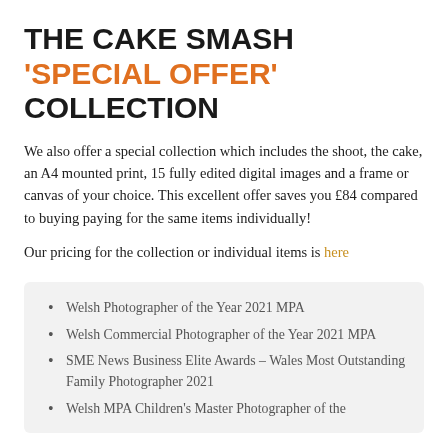THE CAKE SMASH 'SPECIAL OFFER' COLLECTION
We also offer a special collection which includes the shoot, the cake, an A4 mounted print, 15 fully edited digital images and a frame or canvas of your choice. This excellent offer saves you £84 compared to buying paying for the same items individually!
Our pricing for the collection or individual items is here
Welsh Photographer of the Year 2021 MPA
Welsh Commercial Photographer of the Year 2021 MPA
SME News Business Elite Awards – Wales Most Outstanding Family Photographer 2021
Welsh MPA Children's Master Photographer of the